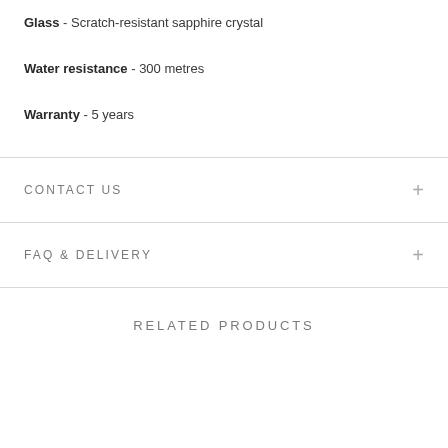Glass - Scratch-resistant sapphire crystal
Water resistance - 300 metres
Warranty - 5 years
CONTACT US
FAQ & DELIVERY
RELATED PRODUCTS